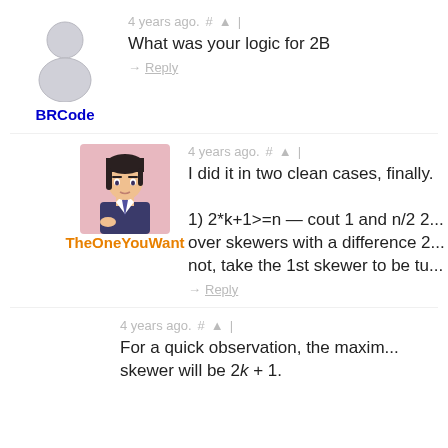[Figure (illustration): Generic user silhouette avatar (grey person icon)]
BRCode
4 years ago.  #  ▲  |
What was your logic for 2B
→ Reply
[Figure (illustration): Anime-style character avatar: a person with dark hair wearing a dark suit, pinkish background]
TheOneYouWant
4 years ago.  #  ▲  |
I did it in two clean cases, finally.

1) 2*k+1>=n — cout 1 and n/2 2... over skewers with a difference 2... not, take the 1st skewer to be tu...
→ Reply
4 years ago.  #  ▲  |
For a quick observation, the maxim... skewer will be 2k + 1.